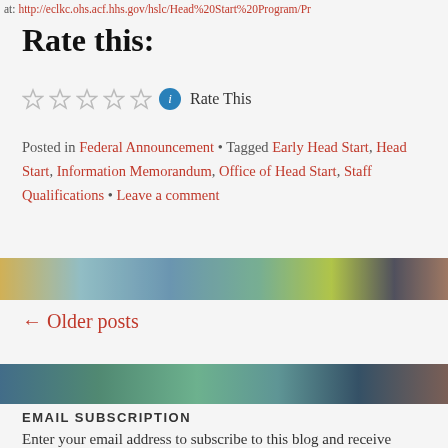at: http://eclkc.ohs.acf.hhs.gov/hslc/Head%20Start%20Program/Pr
Rate this:
[Figure (other): Star rating widget with 5 empty stars, info icon, and 'Rate This' label]
Posted in Federal Announcement • Tagged Early Head Start, Head Start, Information Memorandum, Office of Head Start, Staff Qualifications • Leave a comment
[Figure (photo): Colorful abstract painted banner image]
← Older posts
[Figure (photo): Colorful abstract painted banner image]
EMAIL SUBSCRIPTION
Enter your email address to subscribe to this blog and receive